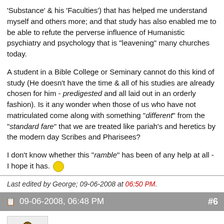'Substance' & his 'Faculties') that has helped me understand myself and others more; and that study has also enabled me to be able to refute the perverse influence of Humanistic psychiatry and psychology that is "leavening" many churches today.
A student in a Bible College or Seminary cannot do this kind of study (He doesn't have the time & all of his studies are already chosen for him - predigested and all laid out in an orderly fashion). Is it any wonder when those of us who have not matriculated come along with something "different" from the "standard fare" that we are treated like pariah's and heretics by the modern day Scribes and Pharisees?
I don't know whether this "ramble" has been of any help at all - I hope it has. 🙂
Last edited by George; 09-06-2008 at 06:50 PM.
09-06-2008, 06:48 PM  #6
George
Quote:
Originally Posted by peopleoftheway ➤ Wonderful stuff George! I have many of your essays